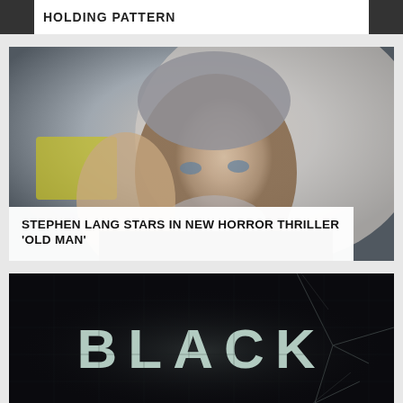HOLDING PATTERN
[Figure (photo): Photo of Stephen Lang, an older man with gray hair and beard, raising his hand at what appears to be Comic-Con]
STEPHEN LANG STARS IN NEW HORROR THRILLER ‘OLD MAN’
[Figure (photo): Dark image with cracked glass effect showing the text BLACK in large letters]